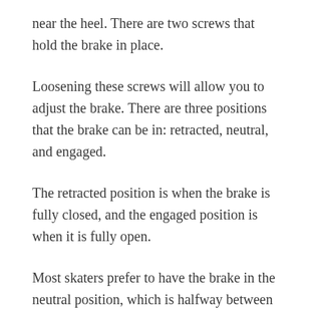near the heel. There are two screws that hold the brake in place.
Loosening these screws will allow you to adjust the brake. There are three positions that the brake can be in: retracted, neutral, and engaged.
The retracted position is when the brake is fully closed, and the engaged position is when it is fully open.
Most skaters prefer to have the brake in the neutral position, which is halfway between retracted and engaged.